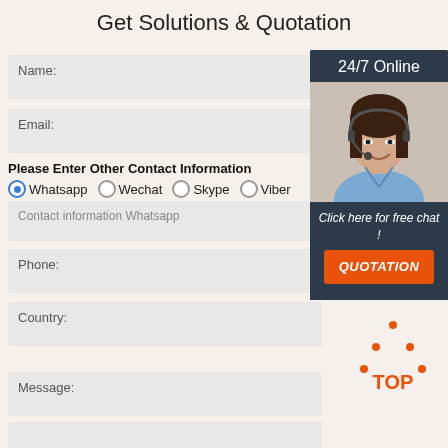Get Solutions & Quotation
Name:
Email:
Please Enter Other Contact Information
Whatsapp  Wechat  Skype  Viber
Contact information Whatsapp
Phone:
[Figure (photo): 24/7 Online chat widget with customer service representative wearing headset. Dark navy background with orange QUOTATION button and 'Click here for free chat!' text.]
Country:
[Figure (illustration): Orange TOP button with dotted triangle/arrow pointing up above 'TOP' text.]
Message: